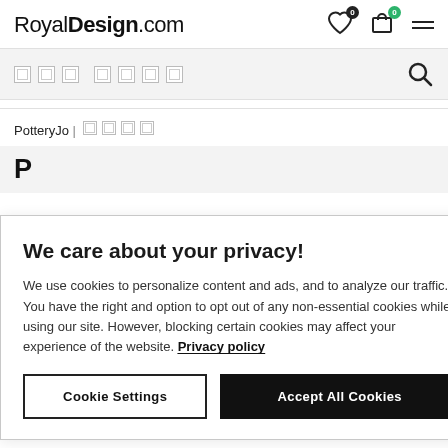RoyalDesign.com
[search placeholder]
PotteryJo | [text]
P
We care about your privacy!
We use cookies to personalize content and ads, and to analyze our traffic. You have the right and option to opt out of any non-essential cookies while using our site. However, blocking certain cookies may affect your experience of the website. Privacy policy
Cookie Settings | Accept All Cookies